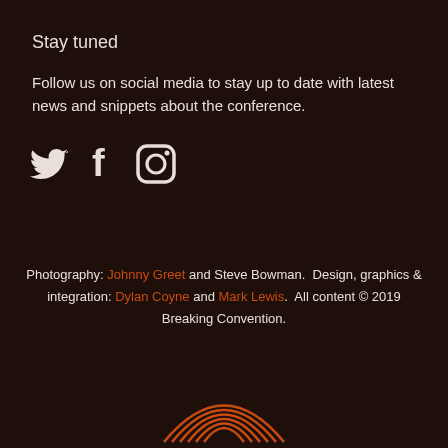Stay tuned
Follow us on social media to stay up to date with latest news and snippets about the conference.
[Figure (illustration): Social media icons: Twitter bird, Facebook f, Instagram camera outline]
Photography: Johnny Greet and Steve Bowman.  Design, graphics & integration: Dylan Coyne and Mark Lewis.  All content © 2019 Breaking Convention.
[Figure (logo): Concentric orange arc lines forming a rainbow/dome logo at the bottom center]